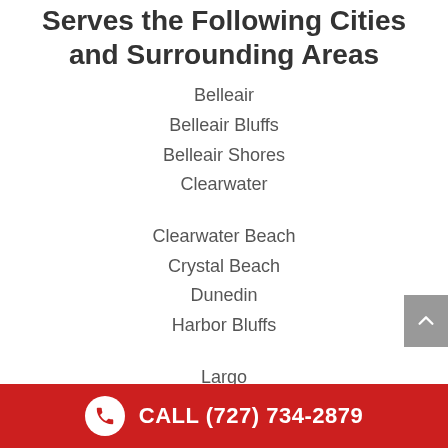Serves the Following Cities and Surrounding Areas
Belleair
Belleair Bluffs
Belleair Shores
Clearwater
Clearwater Beach
Crystal Beach
Dunedin
Harbor Bluffs
Largo
Oldsmar
Ozona
CALL (727) 734-2879